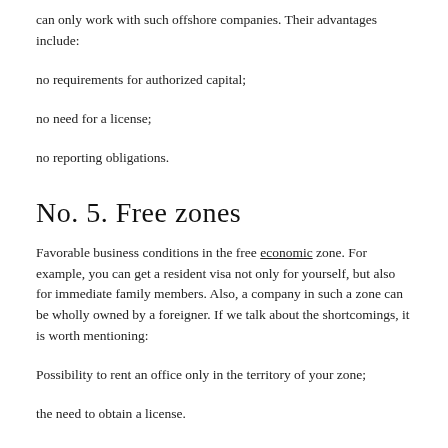can only work with such offshore companies. Their advantages include:
no requirements for authorized capital;
no need for a license;
no reporting obligations.
No. 5. Free zones
Favorable business conditions in the free economic zone. For example, you can get a resident visa not only for yourself, but also for immediate family members. Also, a company in such a zone can be wholly owned by a foreigner. If we talk about the shortcomings, it is worth mentioning:
Possibility to rent an office only in the territory of your zone;
the need to obtain a license.
No. 6. USD payments